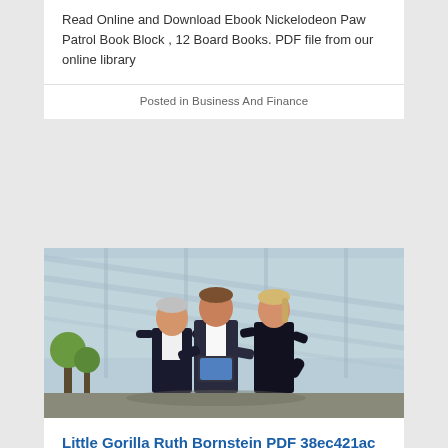Read Online and Download Ebook Nickelodeon Paw Patrol Book Block , 12 Board Books. PDF file from our online library
Posted in Business And Finance
[Figure (photo): Three business professionals standing outdoors near a modern glass building, looking at a tablet together. Two men and one woman dressed in dark business attire.]
Little Gorilla Ruth Bornstein PDF 38ec421ac